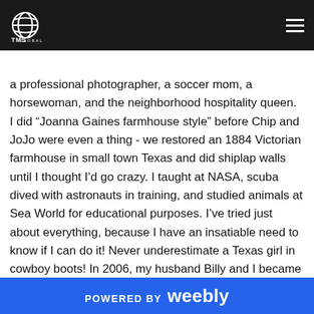TMS Global
In my USA life, I was a teacher in Texas for 15 years.  I was also a professional photographer, a soccer mom, a horsewoman, and the neighborhood hospitality queen.  I did "Joanna Gaines farmhouse style" before Chip and JoJo were even a thing - we restored an 1884 Victorian farmhouse in small town Texas and did shiplap walls until I thought I'd go crazy. I taught at NASA, scuba dived with astronauts in training, and studied animals at Sea World for educational purposes. I've tried just about everything, because I have an insatiable need to know if I can do it! Never underestimate a Texas girl in cowboy boots!  In 2006, my husband Billy and I became cross-cultural workers (CCWs) with TMS Global.  For five years, we served in three rural Quechua Wanca villages in the Andes of Peru.  And when I say rural, I mean RURAL - like no potty!  I spent my days in Peru learning to live a Quechua lifestyle in a rustic adobe
POWERED BY weebly